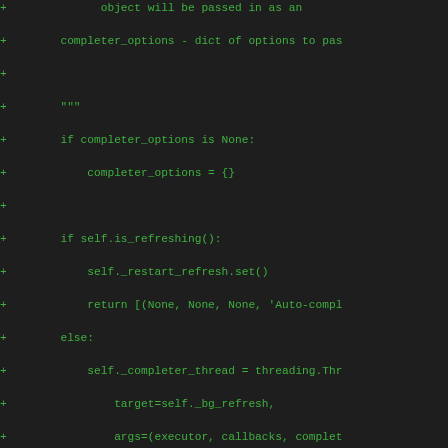[Figure (screenshot): A code diff view showing Python source code additions (lines prefixed with '+') in green monospace font on a dark background. The code shows methods related to auto-completion refreshing, including completer_options handling, is_refreshing(), and _bg_refresh() methods.]